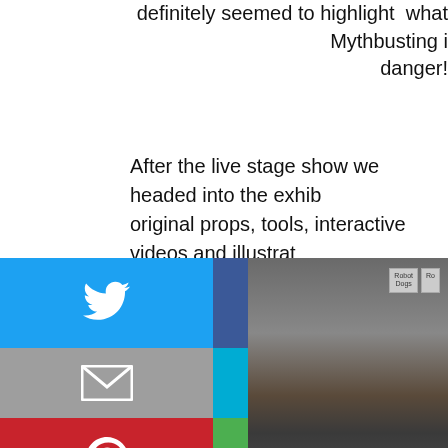definitely seemed to highlight what Mythbusting i danger!
After the live stage show we headed into the exhib original props, tools, interactive videos and illustrat Mythbusters themselves. There are about a dozen familiar if you watch the show, while others were b the exhibit and started in the blueprint room which visual maps and lay out their plans step by step.
[Figure (infographic): Social sharing buttons: Twitter (blue), Facebook (dark blue), Email (grey), SMS (light blue), Pinterest (red), Copy link (green), and a photo of shelves with boxes on the right.]